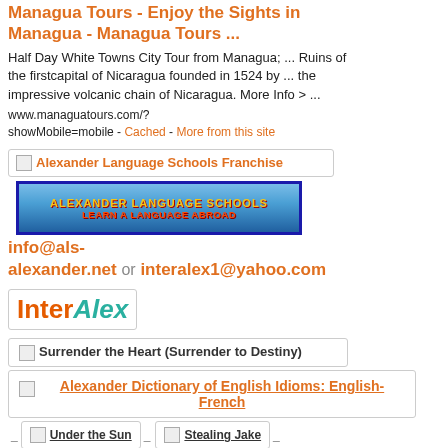Managua Tours - Enjoy the Sights in Managua - Managua Tours ...
Half Day White Towns City Tour from Managua; ... Ruins of the firstcapital of Nicaragua founded in 1524 by ... the impressive volcanic chain of Nicaragua. More Info > ...
www.managuatours.com/?showMobile=mobile - Cached - More from this site
[Figure (screenshot): Alexander Language Schools Franchise ad box with logo banner showing 'ALEXANDER LANGUAGE SCHOOLS - LEARN A LANGUAGE ABROAD']
info@als-alexander.net or interalex1@yahoo.com
[Figure (logo): InterAlex logo - Inter in orange/red, Alex in teal italic]
[Figure (screenshot): Surrender the Heart (Surrender to Destiny) search result box]
[Figure (screenshot): Alexander Dictionary of English Idioms: English-French result box with orange underlined title]
[Figure (screenshot): Under the Sun and Stealing Jake small result boxes]
[Figure (screenshot): Alexander Dictionary of English Idioms: English- result box (partial)]